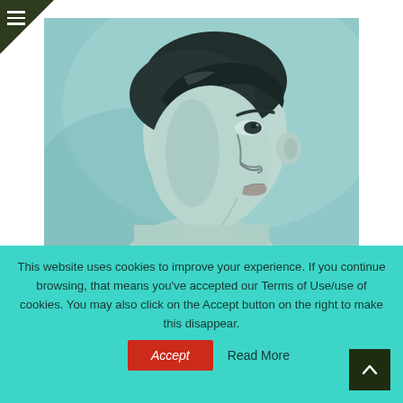[Figure (photo): Black and white portrait photo of a young man in side profile, teal-tinted, showing face and short dark hair]
This website uses cookies to improve your experience. If you continue browsing, that means you've accepted our Terms of Use/use of cookies. You may also click on the Accept button on the right to make this disappear.